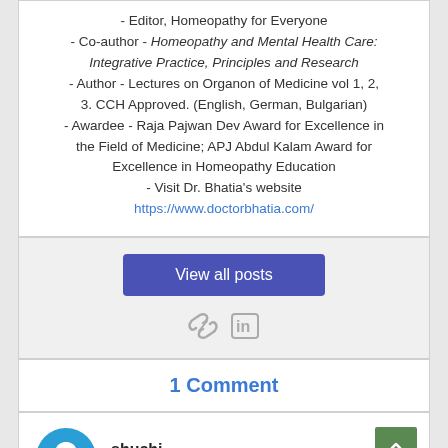- Editor, Homeopathy for Everyone - Co-author - Homeopathy and Mental Health Care: Integrative Practice, Principles and Research - Author - Lectures on Organon of Medicine vol 1, 2, 3. CCH Approved. (English, German, Bulgarian) - Awardee - Raja Pajwan Dev Award for Excellence in the Field of Medicine; APJ Abdul Kalam Award for Excellence in Homeopathy Education - Visit Dr. Bhatia's website https://www.doctorbhatia.com/
View all posts
[Figure (other): Social media icons: link/chain icon and LinkedIn 'in' icon]
1 Comment
shuchi